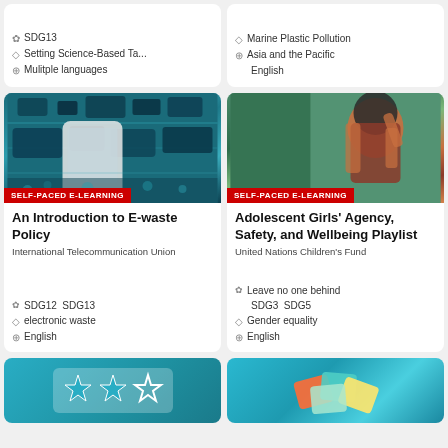SDG13
Setting Science-Based Ta...
Mulitple languages
Marine Plastic Pollution
Asia and the Pacific
English
[Figure (photo): Electronic waste / circuit boards and old mobile phones piled together]
SELF-PACED E-LEARNING
An Introduction to E-waste Policy
International Telecommunication Union
SDG12  SDG13
electronic waste
English
[Figure (photo): Young woman in hijab smiling and pointing, green background]
SELF-PACED E-LEARNING
Adolescent Girls' Agency, Safety, and Wellbeing Playlist
United Nations Children's Fund
Leave no one behind SDG3  SDG5
Gender equality
English
[Figure (illustration): Three stars on teal background, two filled and one outline]
[Figure (photo): Colorful cards on teal/blue background]